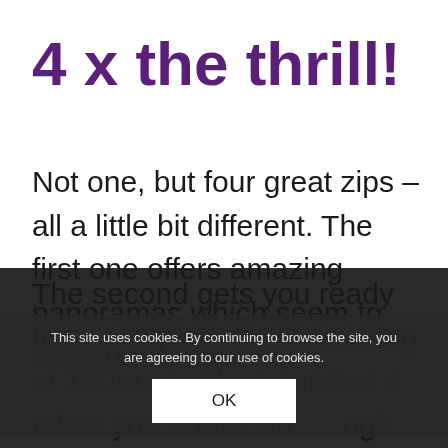4 x the thrill!
Not one, but four great zips – all a little bit different. The first one offers amazing panoramas which seem to stretch forever.
The second gets you ready for the highest in NZ, soaring at 150m up. Then number 4 takes you above and through trees
This site uses cookies. By continuing to browse the site, you are agreeing to our use of cookies.
OK